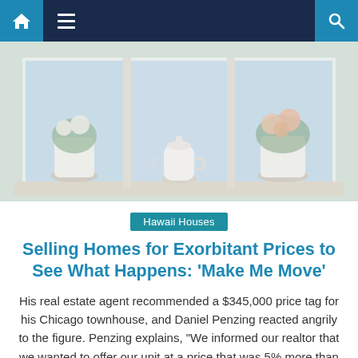Navigation bar with home icon, hamburger menu, and search icon
[Figure (photo): A bright window sill scene with white flower vases and a white teapot, flowers with greenery, natural daylight.]
Hawaii Houses
Selling Homes for Exorbitant Prices to See What Happens: ‘Make Me Move’
His real estate agent recommended a $345,000 price tag for his Chicago townhouse, and Daniel Penzing reacted angrily to the figure. Penzing explains, “We informed our realtor that we wanted to offer our unit at a price that was 5% more than what he proposed.” “I had a feeling the market was going to heat [...]